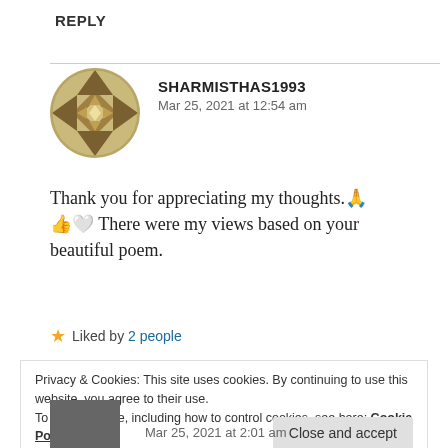REPLY
SHARMISTHAS1993
Mar 25, 2021 at 12:54 am
Thank you for appreciating my thoughts.🙏👍🤍 There were my views based on your beautiful poem.
Liked by 2 people
Privacy & Cookies: This site uses cookies. By continuing to use this website, you agree to their use.
To find out more, including how to control cookies, see here: Cookie Policy
Close and accept
Mar 25, 2021 at 2:01 am